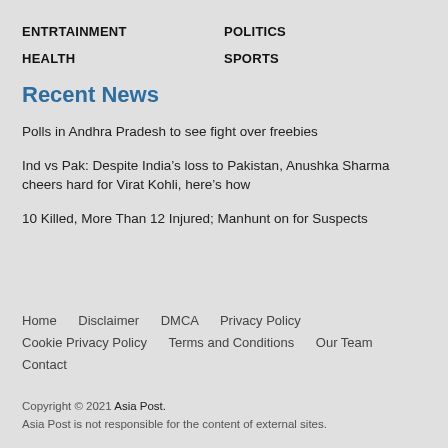ENTRTAINMENT
POLITICS
HEALTH
SPORTS
Recent News
Polls in Andhra Pradesh to see fight over freebies
Ind vs Pak: Despite India’s loss to Pakistan, Anushka Sharma cheers hard for Virat Kohli, here’s how
10 Killed, More Than 12 Injured; Manhunt on for Suspects
Home   Disclaimer   DMCA   Privacy Policy   Cookie Privacy Policy   Terms and Conditions   Our Team   Contact
Copyright © 2021 Asia Post.
Asia Post is not responsible for the content of external sites.